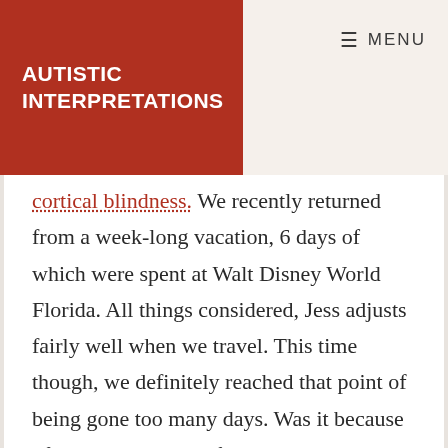AUTISTIC INTERPRETATIONS
cortical blindness. We recently returned from a week-long vacation, 6 days of which were spent at Walt Disney World Florida. All things considered, Jess adjusts fairly well when we travel. This time though, we definitely reached that point of being gone too many days. Was it because of the combination of autism & vacation or was it just time for us to go